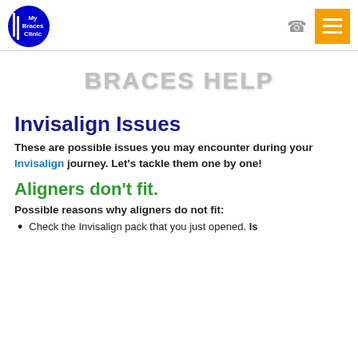[Figure (logo): My Braces Clinic logo — blue circle with white text and vertical bars]
BRACES HELP
Invisalign Issues
These are possible issues you may encounter during your Invisalign journey. Let's tackle them one by one!
Aligners don't fit.
Possible reasons why aligners do not fit:
Check the Invisalign pack that you just opened. Is it the correct one? You can check via the aligner...